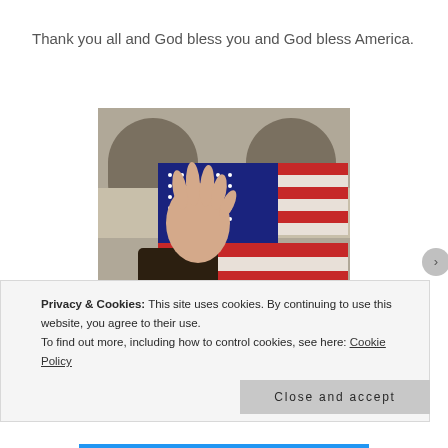Thank you all and God bless you and God bless America.
[Figure (photo): Person waving hand in front of an American flag, seen from below with arched architectural elements in background. Blonde woman visible at bottom of frame.]
Privacy & Cookies: This site uses cookies. By continuing to use this website, you agree to their use.
To find out more, including how to control cookies, see here: Cookie Policy
Close and accept